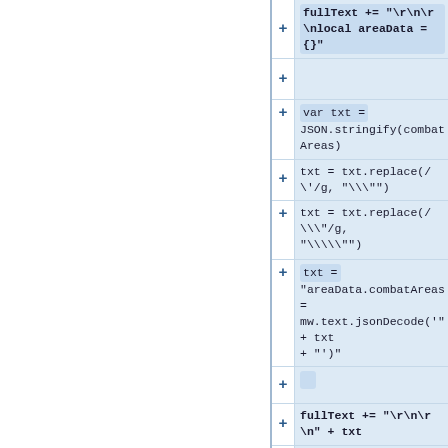[Figure (screenshot): Code diff view showing added lines of JavaScript/Lua code with blue highlighted cells and plus signs in the gutter. Lines show: fullText += "\r\n\r\nlocal areaData = {}", empty line, var txt = JSON.stringify(combatAreas), txt = txt.replace(/\'/g, "\\\""), txt = txt.replace(/\\\"/g, "\\\\\\""), txt = "areaData.combatAreas = mw.text.jsonDecode('" + txt + "')", empty line, fullText += "\r\n\r\n" + txt, empty line, txt =]